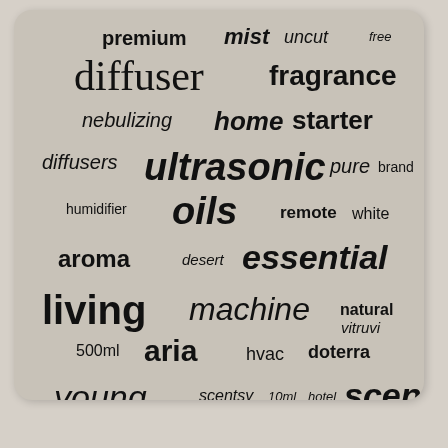[Figure (infographic): Word cloud on a gray-beige rounded rectangle card featuring terms related to essential oil diffusers. Words vary in size, weight, and style (bold, italic, regular). Key terms include: premium, mist, uncut, free, diffuser, fragrance, nebulizing, home, starter, diffusers, ultrasonic, pure, brand, humidifier, oils, remote, white, aroma, desert, essential, living, machine, natural, vitruvi, 500ml, aria, hvac, doterra, young, scentsy, 10ml, hotel, scent, review, aromatherapy.]